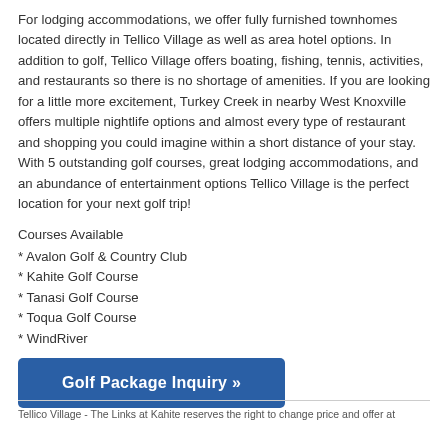For lodging accommodations, we offer fully furnished townhomes located directly in Tellico Village as well as area hotel options. In addition to golf, Tellico Village offers boating, fishing, tennis, activities, and restaurants so there is no shortage of amenities. If you are looking for a little more excitement, Turkey Creek in nearby West Knoxville offers multiple nightlife options and almost every type of restaurant and shopping you could imagine within a short distance of your stay. With 5 outstanding golf courses, great lodging accommodations, and an abundance of entertainment options Tellico Village is the perfect location for your next golf trip!
Courses Available
* Avalon Golf & Country Club
* Kahite Golf Course
* Tanasi Golf Course
* Toqua Golf Course
* WindRiver
Golf Package Inquiry »
Tellico Village - The Links at Kahite reserves the right to change price and offer at